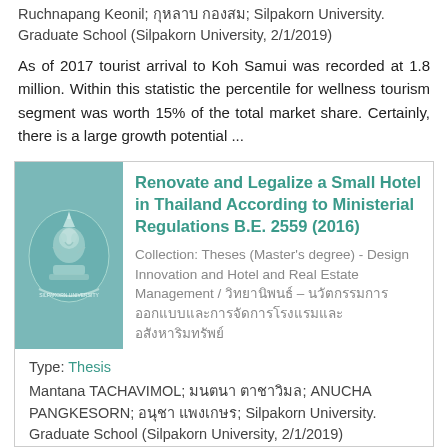Ruchnapang Keonil; กุหลาบ กองสม; Silpakorn University. Graduate School (Silpakorn University, 2/1/2019)
As of 2017 tourist arrival to Koh Samui was recorded at 1.8 million. Within this statistic the percentile for wellness tourism segment was worth 15% of the total market share. Certainly, there is a large growth potential ...
[Figure (logo): Silpakorn University logo/crest on teal background]
Renovate and Legalize a Small Hotel in Thailand According to Ministerial Regulations B.E. 2559 (2016)
Collection: Theses (Master's degree) - Design Innovation and Hotel and Real Estate Management / วิทยานิพนธ์ – นวัตกรรมการออกแบบและการจัดการโรงแรมและอสังหาริมทรัพย์
Type: Thesis
Mantana TACHAVIMOL; มนตนา ตาชาวิมล; ANUCHA PANGKESORN; อนุชา แพงเกษร; Silpakorn University. Graduate School (Silpakorn University, 2/1/2019)
Thailand's tourism industry has in the past flourished due to an uninterrupted growth market. As a result, there are more